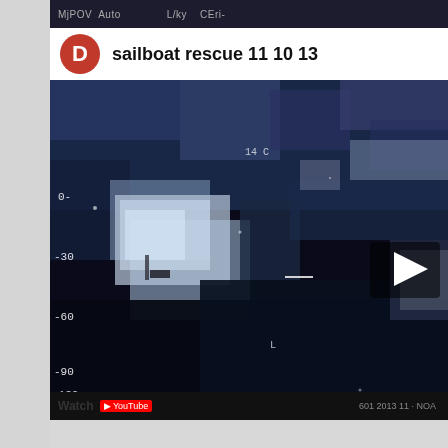[Figure (screenshot): Screenshot of a YouTube video player interface showing a video titled 'sailboat rescue 11 10 13'. The video thumbnail shows night-vision/infrared aerial footage of a sailboat rescue operation. A large red circle avatar with the letter 'D' appears on the left of the title bar. HUD overlay elements are visible on the video frame including altitude/heading readings (-180, -90, 0 on bottom axis; 0, -30, -60, -90, -120 on left axis). A play button is visible on the right side of the video. The bottom shows partial 'Watch' text and YouTube branding.]